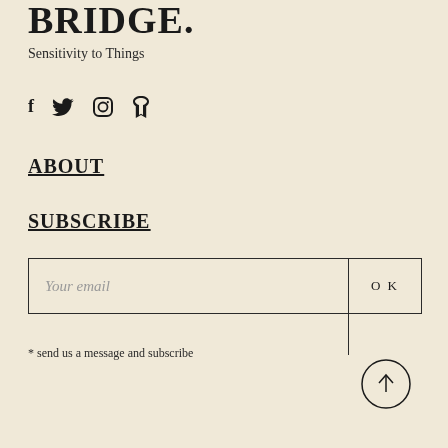Sensitivity to Things
[Figure (other): Social media icons: Facebook (f), Twitter (bird/y), Instagram (camera), Pinterest (p)]
ABOUT
SUBSCRIBE
[Figure (other): Email subscription input box with placeholder 'Your email' and OK button]
* send us a message and subscribe
[Figure (other): Back to top button: circle with upward arrow]